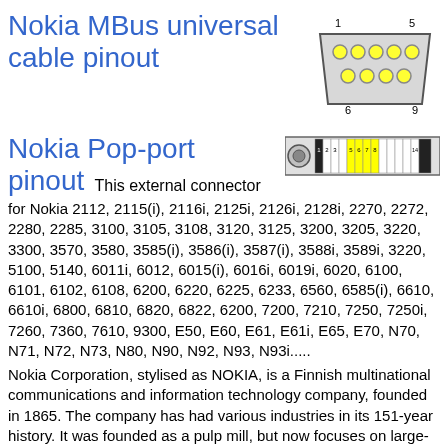Nokia MBus universal cable pinout
[Figure (engineering-diagram): DB9 connector pinout diagram showing 9 pins numbered 1-5 on top row and 6-9 on bottom row in a trapezoidal connector shape]
Nokia Pop-port pinout
[Figure (engineering-diagram): Nokia Pop-port connector pin diagram showing a row of numbered pins 1-14 with some pins colored black and yellow (pins 5,6,7,8 highlighted yellow), with a circular element on the left]
This external connector for Nokia 2112, 2115(i), 2116i, 2125i, 2126i, 2128i, 2270, 2272, 2280, 2285, 3100, 3105, 3108, 3120, 3125, 3200, 3205, 3220, 3300, 3570, 3580, 3585(i), 3586(i), 3587(i), 3588i, 3589i, 3220, 5100, 5140, 6011i, 6012, 6015(i), 6016i, 6019i, 6020, 6100, 6101, 6102, 6108, 6200, 6220, 6225, 6233, 6560, 6585(i), 6610, 6610i, 6800, 6810, 6820, 6822, 6200, 7200, 7210, 7250, 7250i, 7260, 7360, 7610, 9300, E50, E60, E61, E61i, E65, E70, N70, N71, N72, N73, N80, N90, N92, N93, N93i.....
Nokia Corporation, stylised as NOKIA, is a Finnish multinational communications and information technology company, founded in 1865. The company has had various industries in its 151-year history. It was founded as a pulp mill, but now focuses on large-scale telecommunications infrastructures, technology development, and design licensing. Nokia is also a major contributor to the mobile telephony industry, having assisted in the development of the GSM and LTE standards, and was, for a period, the largest vendor of